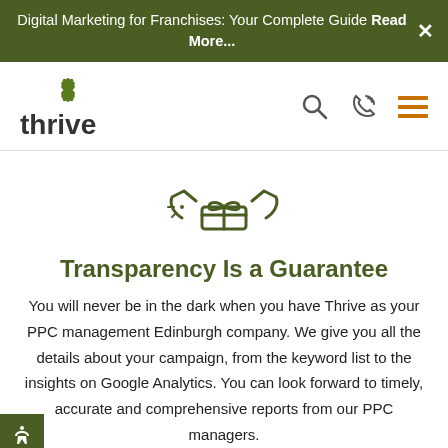Digital Marketing for Franchises: Your Complete Guide Read More...
[Figure (logo): Thrive Internet Marketing Agency logo with green leaf icon above the word 'thrive']
[Figure (infographic): Green icon of hands holding or presenting something, representing transparency]
Transparency Is a Guarantee
You will never be in the dark when you have Thrive as your PPC management Edinburgh company. We give you all the details about your campaign, from the keyword list to the insights on Google Analytics. You can look forward to timely, accurate and comprehensive reports from our PPC managers.